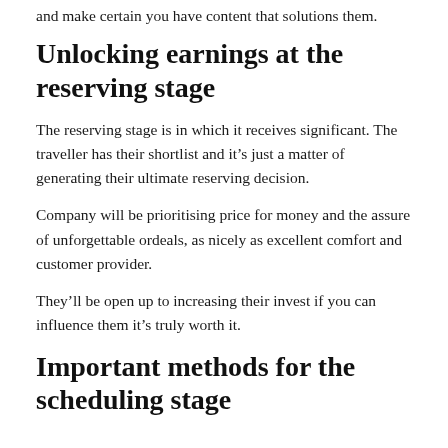and make certain you have content that solutions them.
Unlocking earnings at the reserving stage
The reserving stage is in which it receives significant. The traveller has their shortlist and it’s just a matter of generating their ultimate reserving decision.
Company will be prioritising price for money and the assure of unforgettable ordeals, as nicely as excellent comfort and customer provider.
They’ll be open up to increasing their invest if you can influence them it’s truly worth it.
Important methods for the scheduling stage